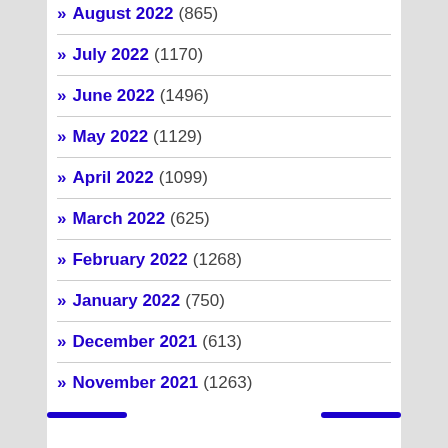August 2022 (865)
July 2022 (1170)
June 2022 (1496)
May 2022 (1129)
April 2022 (1099)
March 2022 (625)
February 2022 (1268)
January 2022 (750)
December 2021 (613)
November 2021 (1263)